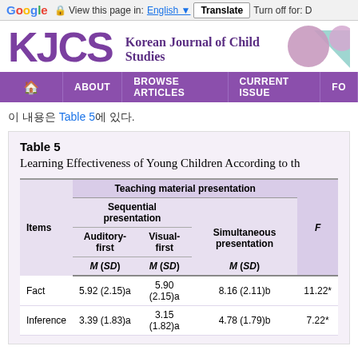Google  View this page in: English  Translate  Turn off for: D
[Figure (logo): Korean Journal of Child Studies (KJCS) journal header with purple logo text, decorative spheres and geometric shapes]
Home  ABOUT  BROWSE ARTICLES  CURRENT ISSUE  FO
이 내용은 Table 5에 있다.
Table 5
Learning Effectiveness of Young Children According to th
| Items | Teaching material presentation: Sequential presentation: Auditory-first M (SD) | Teaching material presentation: Sequential presentation: Visual-first M (SD) | Teaching material presentation: Simultaneous presentation M (SD) | F |
| --- | --- | --- | --- | --- |
| Fact | 5.92 (2.15)a | 5.90 (2.15)a | 8.16 (2.11)b | 11.22 |
| Inference | 3.39 (1.83)a | 3.15 (1.82)a | 4.78 (1.79)b | 7.22 |